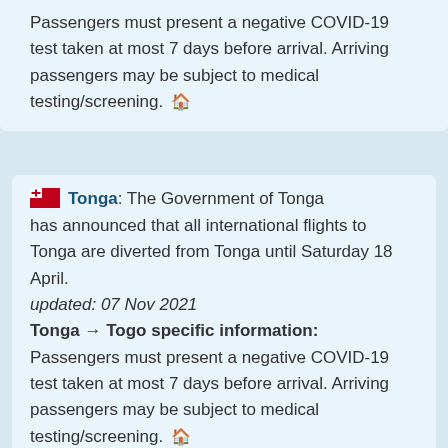Passengers must present a negative COVID-19 test taken at most 7 days before arrival. Arriving passengers may be subject to medical testing/screening. 🏠
Tonga: The Government of Tonga has announced that all international flights to Tonga are diverted from Tonga until Saturday 18 April. updated: 07 Nov 2021
Tonga → Togo specific information: Passengers must present a negative COVID-19 test taken at most 7 days before arrival. Arriving passengers may be subject to medical testing/screening. 🏠